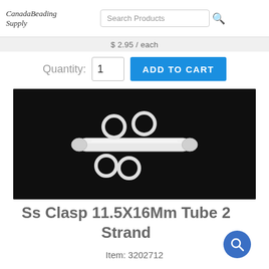Canada Beading Supply | Search Products
$ 2.95 / each
Quantity: 1  ADD TO CART
[Figure (photo): Close-up photo of a silver stainless steel tube clasp with two strands of rings on a black background]
Ss Clasp 11.5X16Mm Tube 2 Strand
Item: 3202712